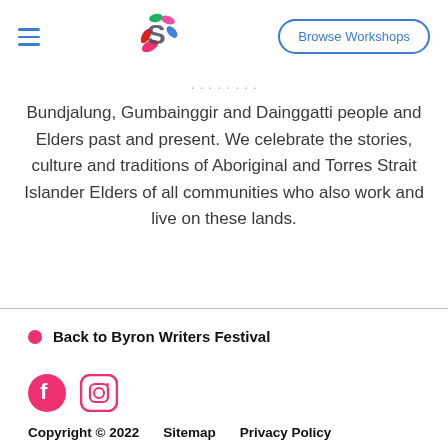Browse Workshops
Bundjalung, Gumbainggir and Dainggatti people and Elders past and present. We celebrate the stories, culture and traditions of Aboriginal and Torres Strait Islander Elders of all communities who also work and live on these lands.
Back to Byron Writers Festival
Copyright © 2022   Sitemap   Privacy Policy